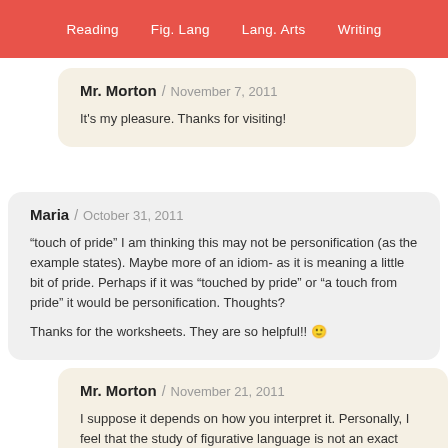Reading   Fig. Lang   Lang. Arts   Writing
Mr. Morton / November 7, 2011

It's my pleasure. Thanks for visiting!
Maria / October 31, 2011

“touch of pride” I am thinking this may not be personification (as the example states). Maybe more of an idiom- as it is meaning a little bit of pride. Perhaps if it was “touched by pride” or “a touch from pride” it would be personification. Thoughts?

Thanks for the worksheets. They are so helpful!! 🙂
Mr. Morton / November 21, 2011

I suppose it depends on how you interpret it. Personally, I feel that the study of figurative language is not an exact science, as understanding may vary based